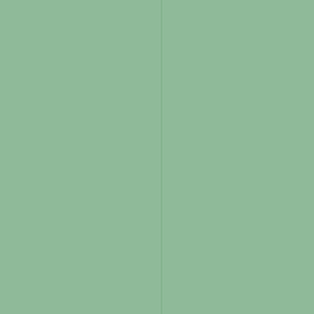in the best t Factory" ar
HYBRYDS THE ANT'
- Zoharum o
of the Antw by Sandy an Sotz) was w of dolphins. of the unde director wr preface: "S Zoo Aquari the similar Under the S
ONEOHT RETURNA
(Austria), 2